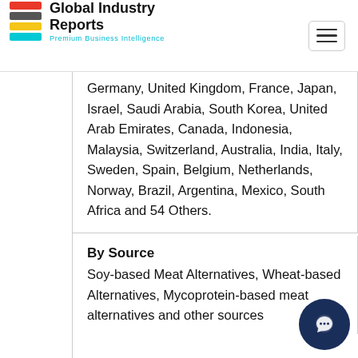Global Industry Reports — Premium Business Intelligence
Germany, United Kingdom, France, Japan, Israel, Saudi Arabia, South Korea, United Arab Emirates, Canada, Indonesia, Malaysia, Switzerland, Australia, India, Italy, Sweden, Spain, Belgium, Netherlands, Norway, Brazil, Argentina, Mexico, South Africa and 54 Others.
By Source
Soy-based Meat Alternatives, Wheat-based Alternatives, Mycoprotein-based meat alternatives and other sources